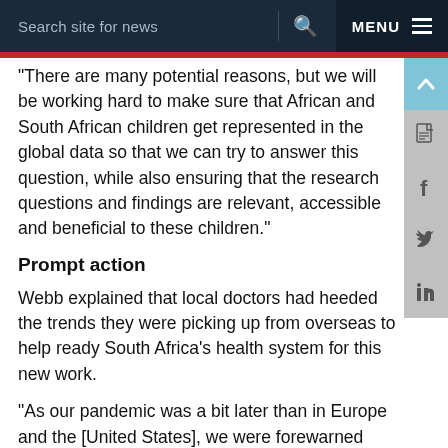Search site for news  MENU
“There are many potential reasons, but we will be working hard to make sure that African and South African children get represented in the global data so that we can try to answer this question, while also ensuring that the research questions and findings are relevant, accessible and beneficial to these children.”
Prompt action
Webb explained that local doctors had heeded the trends they were picking up from overseas to help ready South Africa’s health system for this new work.
“As our pandemic was a bit later than in Europe and the [United States], we were forewarned about MIS-C. So as soon as we started seeing cases, we knew that we were well placed to gather data and start to perform research to rapidly learn more about this new disease.”